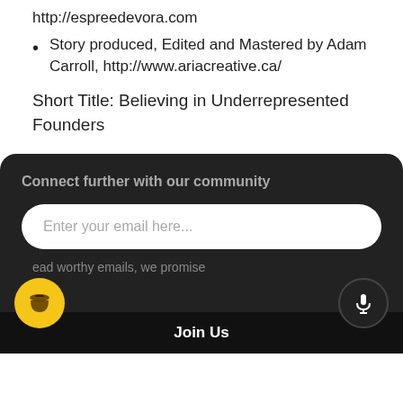http://espreedevora.com
Story produced, Edited and Mastered by Adam Carroll, http://www.ariacreative.ca/
Short Title: Believing in Underrepresented Founders
Connect further with our community
Enter your email here...
ead worthy emails, we promise
Join Us